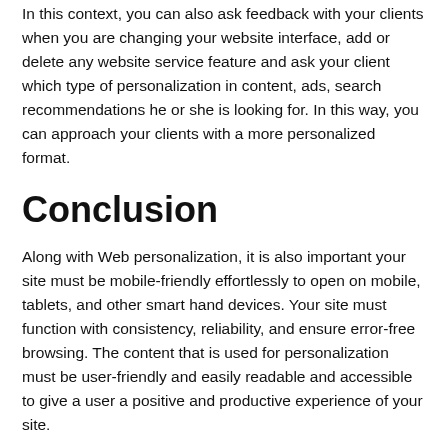In this context, you can also ask feedback with your clients when you are changing your website interface, add or delete any website service feature and ask your client which type of personalization in content, ads, search recommendations he or she is looking for. In this way, you can approach your clients with a more personalized format.
Conclusion
Along with Web personalization, it is also important your site must be mobile-friendly effortlessly to open on mobile, tablets, and other smart hand devices. Your site must function with consistency, reliability, and ensure error-free browsing. The content that is used for personalization must be user-friendly and easily readable and accessible to give a user a positive and productive experience of your site.